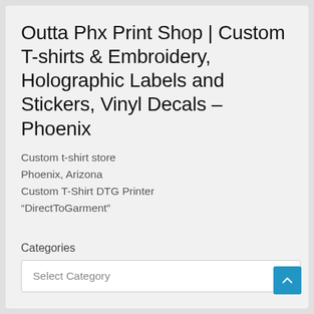Outta Phx Print Shop | Custom T-shirts & Embroidery, Holographic Labels and Stickers, Vinyl Decals – Phoenix
Custom t-shirt store
Phoenix, Arizona
Custom T-Shirt DTG Printer “DirectToGarment”
Categories
Select Category